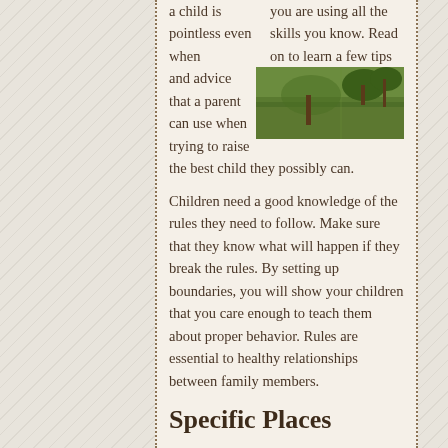[Figure (photo): Outdoor park or field scene with green grass and trees]
a child is pointless even when you are using all the skills you know. Read on to learn a few tips and advice that a parent can use when trying to raise the best child they possibly can.
Children need a good knowledge of the rules they need to follow. Make sure that they know what will happen if they break the rules. By setting up boundaries, you will show your children that you care enough to teach them about proper behavior. Rules are essential to healthy relationships between family members.
Specific Places
Instill organizational skills in your child by assigning specific places for all belongings. Having specific places for toys and supplies keeps them from being scattered around the house. Show him where things